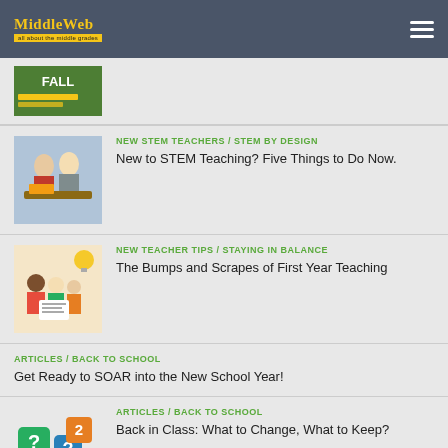MiddleWeb
[Figure (photo): Partial view of a book or resource cover with FALL text visible]
[Figure (photo): Students working together on STEM activity at a table]
NEW STEM TEACHERS / STEM BY DESIGN
New to STEM Teaching? Five Things to Do Now.
[Figure (illustration): Illustration of teacher and students looking at paper together with lightbulb idea icon]
NEW TEACHER TIPS / STAYING IN BALANCE
The Bumps and Scrapes of First Year Teaching
ARTICLES / BACK TO SCHOOL
Get Ready to SOAR into the New School Year!
[Figure (illustration): Colorful question mark blocks illustration]
ARTICLES / BACK TO SCHOOL
Back in Class: What to Change, What to Keep?